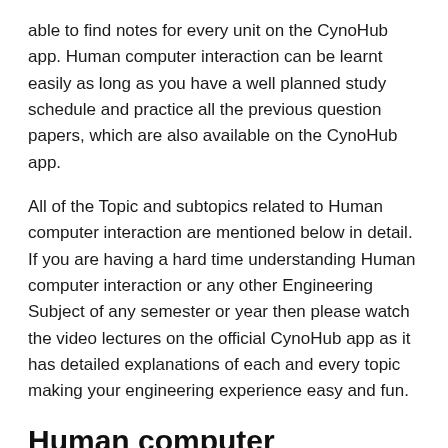able to find notes for every unit on the CynoHub app. Human computer interaction can be learnt easily as long as you have a well planned study schedule and practice all the previous question papers, which are also available on the CynoHub app.
All of the Topic and subtopics related to Human computer interaction are mentioned below in detail. If you are having a hard time understanding Human computer interaction or any other Engineering Subject of any semester or year then please watch the video lectures on the official CynoHub app as it has detailed explanations of each and every topic making your engineering experience easy and fun.
Human computer interaction Unit One